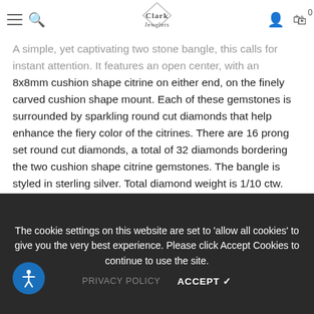Clark Jewelers
A simple, yet captivating two stone bangle, this calls for instant attention. It features an open center, with an 8x8mm cushion shape citrine on either end, on the finely carved cushion shape mount. Each of these gemstones is surrounded by sparkling round cut diamonds that help enhance the fiery color of the citrines. There are 16 prong set round cut diamonds, a total of 32 diamonds bordering the two cushion shape citrine gemstones. The bangle is styled in sterling silver. Total diamond weight is 1/10 ctw.
Quantity:
The cookie settings on this website are set to 'allow all cookies' to give you the very best experience. Please click Accept Cookies to continue to use the site.
PRIVACY POLICY   ACCEPT ✓